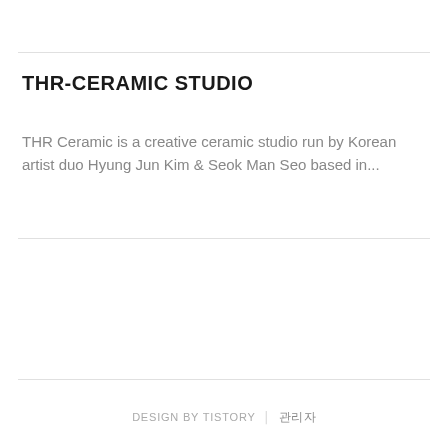THR-CERAMIC STUDIO
THR Ceramic is a creative ceramic studio run by Korean artist duo Hyung Jun Kim & Seok Man Seo based in...
DESIGN BY TISTORY | 관리자